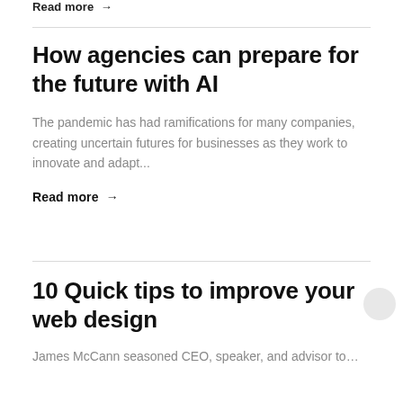Read more →
How agencies can prepare for the future with AI
The pandemic has had ramifications for many companies, creating uncertain futures for businesses as they work to innovate and adapt...
Read more →
10 Quick tips to improve your web design
James McCann seasoned CEO, speaker, and advisor to...